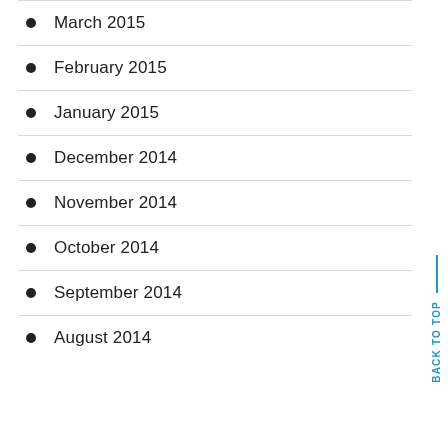March 2015
February 2015
January 2015
December 2014
November 2014
October 2014
September 2014
August 2014